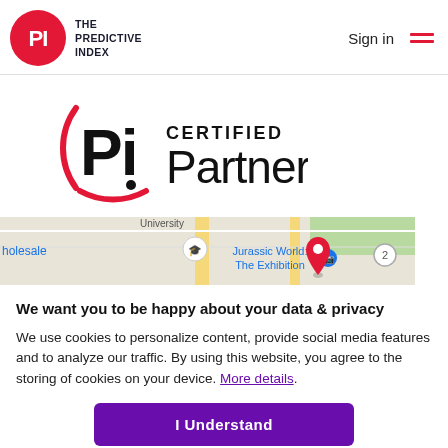[Figure (logo): The Predictive Index logo: red circle with PI letters inside, next to text 'THE PREDICTIVE INDEX' in bold dark text]
Sign in
[Figure (logo): PI Certified Partner logo: large PI letters with red arc, text 'CERTIFIED Partner']
[Figure (map): Partial Google Maps screenshot showing 'holesale', a university marker, 'Jurassic World: The Exhibition' label, and road map tiles]
We want you to be happy about your data & privacy
We use cookies to personalize content, provide social media features and to analyze our traffic. By using this website, you agree to the storing of cookies on your device. More details.
I Understand